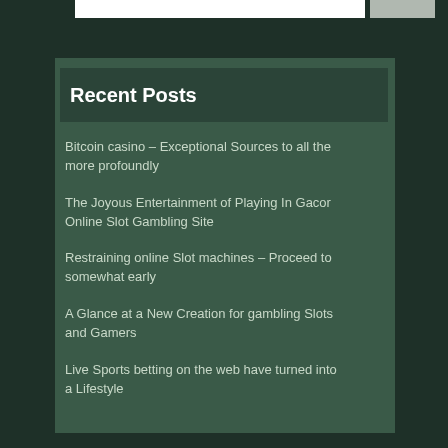Recent Posts
Bitcoin casino – Exceptional Sources to all the more profoundly
The Joyous Entertainment of Playing In Gacor Online Slot Gambling Site
Restraining online Slot machines – Proceed to somewhat early
A Glance at a New Creation for gambling Slots and Gamers
Live Sports betting on the web have turned into a Lifestyle